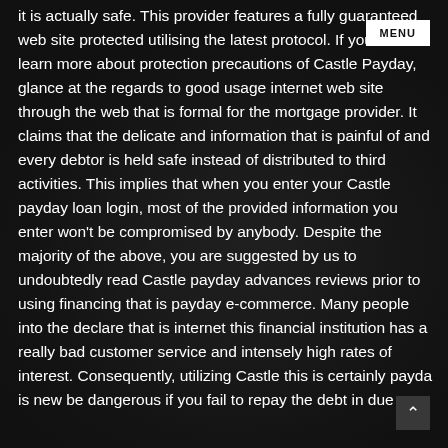it is actually safe. This provider features a fully guaranteed web site protected utilising the latest protocol. If you want to learn more about protection precautions of Castle Payday, glance at the regards to good usage internet web site through the web that is formal for the mortgage provider. It claims that the delicate and information that is painful of and every debtor is held safe instead of distributed to third activities. This implies that when you enter your Castle payday loan login, most of the provided information you enter won't be compromised by anybody. Despite the majority of the above, you are suggested by us to undoubtedly read Castle payday advances reviews prior to using financing that is payday e-commerce. Many people into the declare that is internet this financial institution has a really bad customer service and intensely high rates of interest. Consequently, utilizing Castle this is certainly payday is new be dangerous if you fail to repay the debt in due